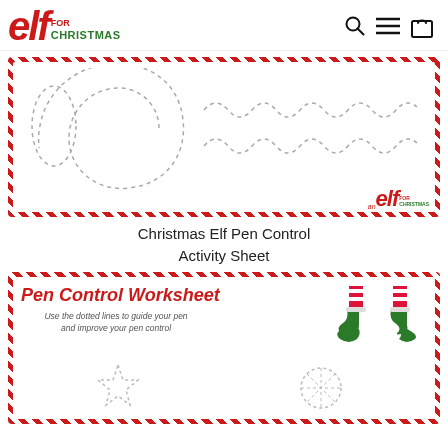[Figure (logo): Elf for Christmas logo - red italic 'elf' with 'for CHRISTMAS' text in red and green]
[Figure (illustration): Christmas Elf pen control activity sheet thumbnail showing dotted spiral and zigzag tracing lines with candy cane border and elf logo watermark]
Christmas Elf Pen Control Activity Sheet
[Figure (illustration): Pen Control Worksheet card showing title 'Pen Control Worksheet' in red italic, subtitle 'Use the dotted lines to guide your pen and improve your pen control', elf shoes illustration, and dotted star/snowflake tracing shapes]